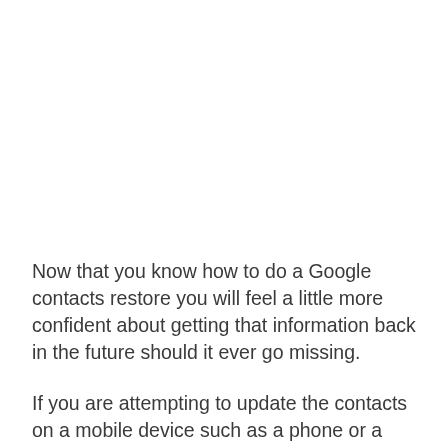Now that you know how to do a Google contacts restore you will feel a little more confident about getting that information back in the future should it ever go missing.
If you are attempting to update the contacts on a mobile device such as a phone or a tablet, they should be get and then set them the